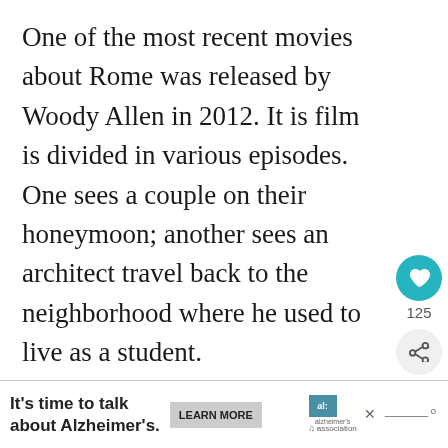One of the most recent movies about Rome was released by Woody Allen in 2012. It is film is divided in various episodes. One sees a couple on their honeymoon; another sees an architect travel back to the neighborhood where he used to live as a student.
Yet the most entertaining episode sees Italian actor Roberto Benigni (whom you may know from the award winning movie Life Is Beautiful) suddenly becoming a celebrity, for no real reason, and being regularly followed by paparazzi until eventually, just as suddenly, he s
[Figure (infographic): Heart/like button (teal circle with white heart icon) with count 125 below it, and a share button below that]
[Figure (infographic): Advertisement banner: 'It's time to talk about Alzheimer's.' with LEARN MORE button and Alzheimer's Association logo, close X button, and menu dots icon]